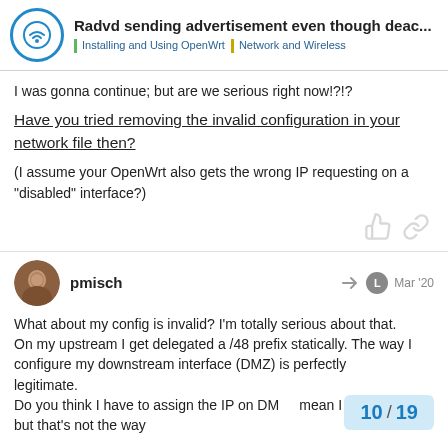Radvd sending advertisement even though deac... | Installing and Using OpenWrt | Network and Wireless
I was gonna continue; but are we serious right now!?!?
Have you tried removing the invalid configuration in your network file then?
(I assume your OpenWrt also gets the wrong IP requesting on a "disabled" interface?)
pmisch Mar '20
What about my config is invalid? I'm totally serious about that. On my upstream I get delegated a /48 prefix statically. The way I configure my downstream interface (DMZ) is perfectly legitimate.
Do you think I have to assign the IP on DM... mean I could try that but that's not the way